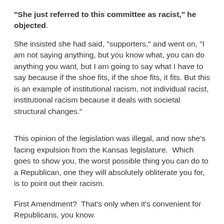"She just referred to this committee as racist," he objected.
She insisted she had said, "supporters," and went on, "I am not saying anything, but you know what, you can do anything you want, but I am going to say what I have to say because if the shoe fits, if the shoe fits, it fits. But this is an example of institutional racism, not individual racist, institutional racism because it deals with societal structural changes."
This opinion of the legislation was illegal, and now she's facing expulsion from the Kansas legislature.  Which goes to show you, the worst possible thing you can do to a Republican, one they will absolutely obliterate you for, is to point out their racism.
First Amendment?  That's only when it's convenient for Republicans, you know.